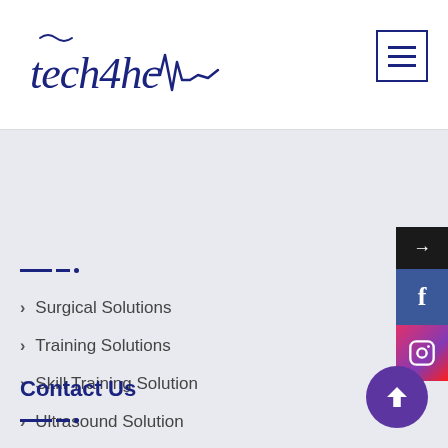[Figure (logo): tech4hc logo with heartbeat line in navy blue handwritten style]
[Figure (other): Hamburger menu icon with three horizontal lines in a navy border box]
Surgical Solutions
Training Solutions
Skill Training Solution
Ultrasound Solution
Patient Management
Latest Blog
Contact Us
[Figure (other): Social media sidebar with arrow, Facebook f icon, and Instagram camera icon]
[Figure (other): Purple scroll-to-top circular button with upward arrow]